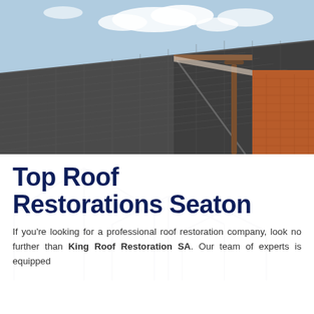[Figure (photo): Close-up photograph of a dark grey tiled roof with a gutter and downpipe on a brick house, with blue sky and clouds in the background]
Top Roof Restorations Seaton
If you're looking for a professional roof restoration company, look no further than King Roof Restoration SA. Our team of experts is equipped